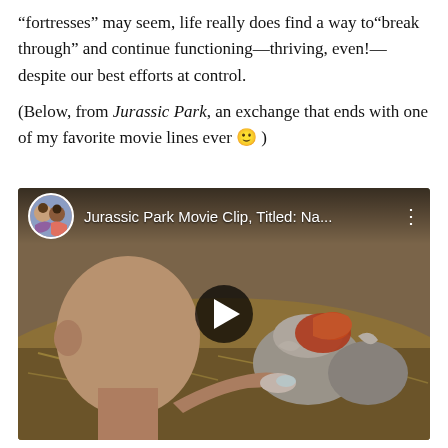“fortresses” may seem, life really does find a way to“break through” and continue functioning—thriving, even!—despite our best efforts at control.

(Below, from Jurassic Park, an exchange that ends with one of my favorite movie lines ever 🙂 )
[Figure (screenshot): Embedded YouTube video thumbnail showing a scene from Jurassic Park with a man examining a dinosaur egg hatching. Top bar shows a circular avatar of two children, title 'Jurassic Park Movie Clip, Titled: Na...' and a three-dot menu. A play button is overlaid in the center.]